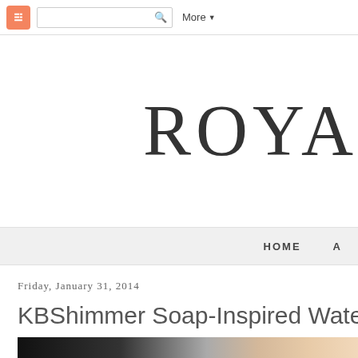Blogger navigation bar with search field and More button
ROYA
HOME  A
Friday, January 31, 2014
KBShimmer Soap-Inspired Water M
[Figure (photo): Partial photo of a nail polish or beauty product, showing a dark to light gradient with skin-tone colors visible at the right edge]